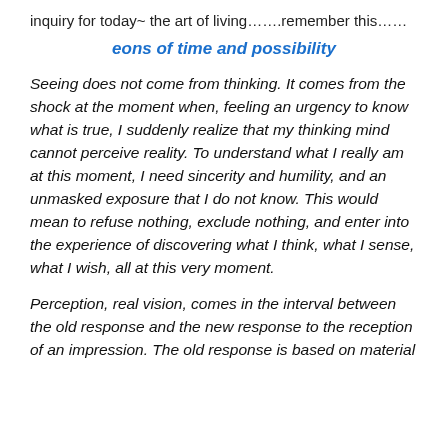inquiry for today~ the art of living…….remember this……
eons of time and possibility
Seeing does not come from thinking. It comes from the shock at the moment when, feeling an urgency to know what is true, I suddenly realize that my thinking mind cannot perceive reality. To understand what I really am at this moment, I need sincerity and humility, and an unmasked exposure that I do not know. This would mean to refuse nothing, exclude nothing, and enter into the experience of discovering what I think, what I sense, what I wish, all at this very moment.
Perception, real vision, comes in the interval between the old response and the new response to the reception of an impression. The old response is based on material impulses, in a sense...With the new response, a free from...